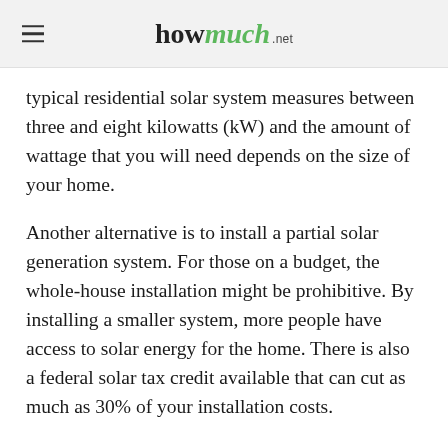howmuch.net
typical residential solar system measures between three and eight kilowatts (kW) and the amount of wattage that you will need depends on the size of your home.
Another alternative is to install a partial solar generation system. For those on a budget, the whole-house installation might be prohibitive. By installing a smaller system, more people have access to solar energy for the home. There is also a federal solar tax credit available that can cut as much as 30% of your installation costs.
Solar panel installation: by popular wattage ratings, including installation labor and all materials and prior to application of any available